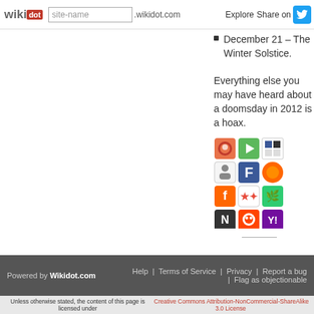wikidot | site-name .wikidot.com | Explore | Share on
December 21 – The Winter Solstice.
Everything else you may have heard about a doomsday in 2012 is a hoax.
[Figure (infographic): Grid of social media sharing icons (about 12 icons in 4 rows)]
Powered by Wikidot.com | Help | Terms of Service | Privacy | Report a bug | Flag as objectionable
Unless otherwise stated, the content of this page is licensed under Creative Commons Attribution-NonCommercial-ShareAlike 3.0 License